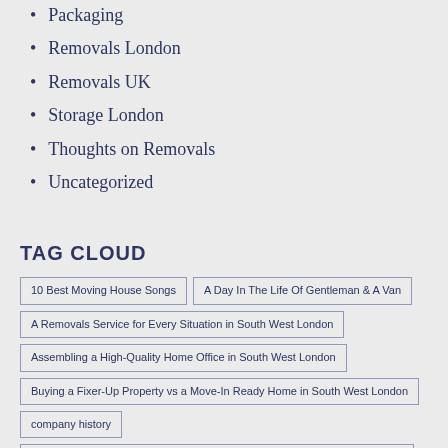Packaging
Removals London
Removals UK
Storage London
Thoughts on Removals
Uncategorized
TAG CLOUD
10 Best Moving House Songs
A Day In The Life Of Gentleman & A Van
A Removals Service for Every Situation in South West London
Assembling a High-Quality Home Office in South West London
Buying a Fixer-Up Property vs a Move-In Ready Home in South West London
company history
Finding Affordable Properties in London - Is Renovating a Good Investment?